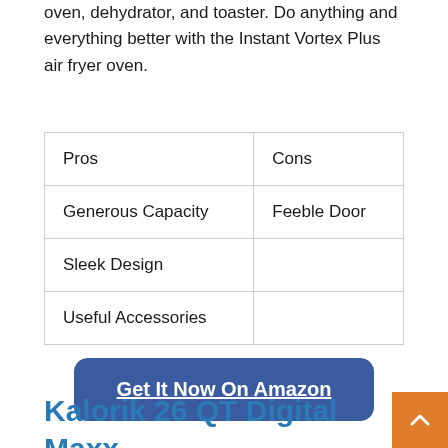oven, dehydrator, and toaster. Do anything and everything better with the Instant Vortex Plus air fryer oven.
| Pros | Cons |
| --- | --- |
| Generous Capacity | Feeble Door |
| Sleek Design |  |
| Useful Accessories |  |
[Figure (other): Blue rounded button with text 'Get It Now On Amazon']
Kalorik 26 QT Digital Maxx Air Fryer O...